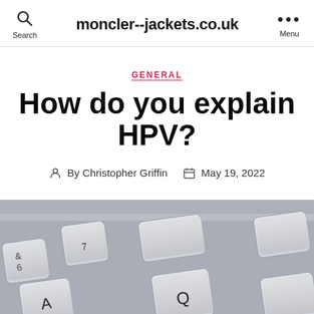moncler--jackets.co.uk
GENERAL
How do you explain HPV?
By Christopher Griffin   May 19, 2022
[Figure (photo): Close-up photo of a white keyboard, angled view showing keys including &, 6, 7, A, Q]